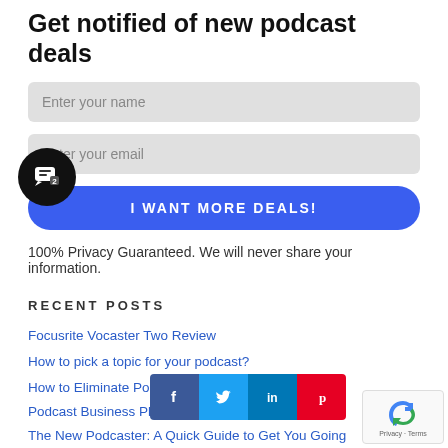Get notified of new podcast deals
Enter your name
Enter your email
I WANT MORE DEALS!
100% Privacy Guaranteed. We will never share your information.
RECENT POSTS
Focusrite Vocaster Two Review
How to pick a topic for your podcast?
How to Eliminate Podcrastination?
Podcast Business Pla...
The New Podcaster: A Quick Guide to Get You Going
[Figure (screenshot): Chat/messenger icon — dark circular button with a chat bubble icon]
[Figure (infographic): Social share bar with Facebook, Twitter, LinkedIn, Pinterest buttons]
[Figure (screenshot): reCAPTCHA badge — Privacy Terms]